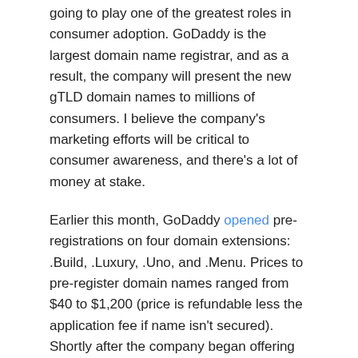going to play one of the greatest roles in consumer adoption. GoDaddy is the largest domain name registrar, and as a result, the company will present the new gTLD domain names to millions of consumers. I believe the company's marketing efforts will be critical to consumer awareness, and there's a lot of money at stake.
Earlier this month, GoDaddy opened pre-registrations on four domain extensions: .Build, .Luxury, .Uno, and .Menu. Prices to pre-register domain names ranged from $40 to $1,200 (price is refundable less the application fee if name isn't secured). Shortly after the company began offering pre-registrations, I reached out to ask if the company would share some trends and perhaps some information about the number of pre-registrations.
Last night, I received an email from GoDaddy with some trends the company is seeing. Here are some of these trends:
Domainers are in the minority as percentage of buyers (Only